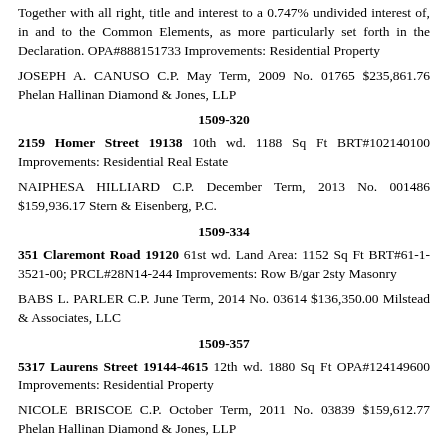Together with all right, title and interest to a 0.747% undivided interest of, in and to the Common Elements, as more particularly set forth in the Declaration. OPA#888151733 Improvements: Residential Property
JOSEPH A. CANUSO C.P. May Term, 2009 No. 01765 $235,861.76 Phelan Hallinan Diamond & Jones, LLP
1509-320
2159 Homer Street 19138 10th wd. 1188 Sq Ft BRT#102140100 Improvements: Residential Real Estate
NAIPHESA HILLIARD C.P. December Term, 2013 No. 001486 $159,936.17 Stern & Eisenberg, P.C.
1509-334
351 Claremont Road 19120 61st wd. Land Area: 1152 Sq Ft BRT#61-1-3521-00; PRCL#28N14-244 Improvements: Row B/gar 2sty Masonry
BABS L. PARLER C.P. June Term, 2014 No. 03614 $136,350.00 Milstead & Associates, LLC
1509-357
5317 Laurens Street 19144-4615 12th wd. 1880 Sq Ft OPA#124149600 Improvements: Residential Property
NICOLE BRISCOE C.P. October Term, 2011 No. 03839 $159,612.77 Phelan Hallinan Diamond & Jones, LLP